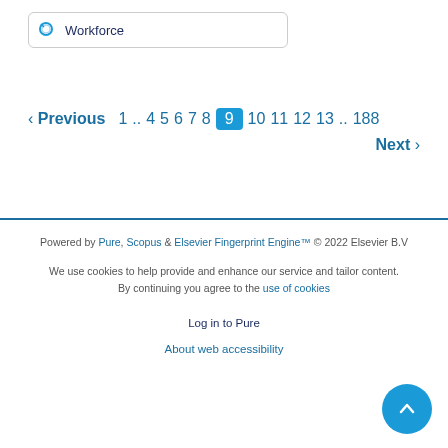Workforce
‹ Previous  1 .. 4  5  6  7  8  9  10  11  12  13 .. 188  Next ›
Powered by Pure, Scopus & Elsevier Fingerprint Engine™ © 2022 Elsevier B.V

We use cookies to help provide and enhance our service and tailor content. By continuing you agree to the use of cookies

Log in to Pure

About web accessibility